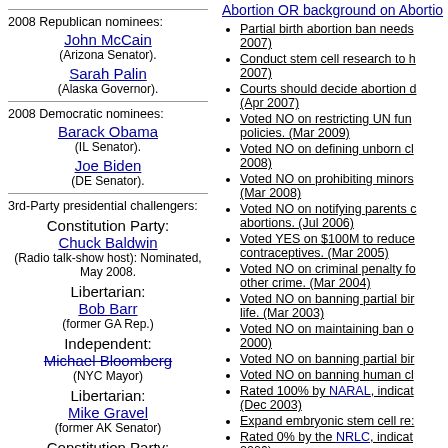2008 Republican nominees:
John McCain (Arizona Senator).
Sarah Palin (Alaska Governor).
2008 Democratic nominees:
Barack Obama (IL Senator).
Joe Biden (DE Senator).
3rd-Party presidential challengers:
Constitution Party: Chuck Baldwin (Radio talk-show host): Nominated, May 2008.
Libertarian: Bob Barr (former GA Rep.)
Independent: Michael Bloomberg (NYC Mayor)
Libertarian: Mike Gravel (former AK Senator)
Constitution Party: Alan Keyes
Abortion OR background on Abortion
Partial birth abortion ban needs exception. (2007)
Conduct stem cell research to help cure diseases. (2007)
Courts should decide abortion cases, not legislatures. (Apr 2007)
Voted NO on restricting UN funding for population policies. (Mar 2009)
Voted NO on defining unborn child. (2008)
Voted NO on prohibiting minors. (Mar 2008)
Voted NO on notifying parents of minors who get abortions. (Jul 2006)
Voted YES on $100M to reduce uninsured teens use of contraceptives. (Mar 2005)
Voted NO on criminal penalty for harming an unborn child in other crime. (Mar 2004)
Voted NO on banning partial birth abortions except for the life. (Mar 2003)
Voted NO on maintaining ban on. (2000)
Voted NO on banning partial bir
Voted NO on banning human cl
Rated 100% by NARAL, indicating a pro-choice voting record. (Dec 2003)
Expand embryonic stem cell res
Rated 0% by the NRLC, indicating a pro-choice stance. (2006)
Ensure access to and funding f